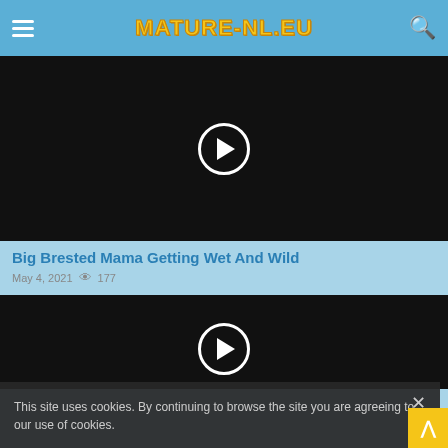MATURE-NL.EU
[Figure (screenshot): Video thumbnail black background with circular play button]
Big Brested Mama Getting Wet And Wild
May 4, 2021  177
[Figure (screenshot): Second video thumbnail black background with circular play button]
This site uses cookies. By continuing to browse the site you are agreeing to our use of cookies.